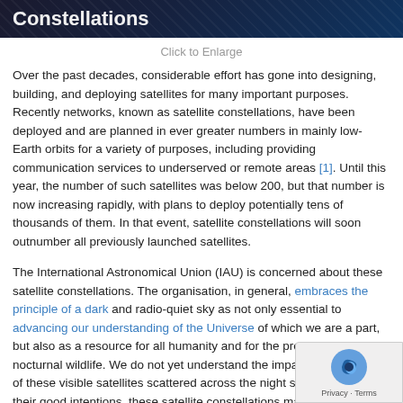Constellations
Click to Enlarge
Over the past decades, considerable effort has gone into designing, building, and deploying satellites for many important purposes. Recently networks, known as satellite constellations, have been deployed and are planned in ever greater numbers in mainly low-Earth orbits for a variety of purposes, including providing communication services to underserved or remote areas [1]. Until this year, the number of such satellites was below 200, but that number is now increasing rapidly, with plans to deploy potentially tens of thousands of them. In that event, satellite constellations will soon outnumber all previously launched satellites.
The International Astronomical Union (IAU) is concerned about these satellite constellations. The organisation, in general, embraces the principle of a dark and radio-quiet sky as not only essential to advancing our understanding of the Universe of which we are a part, but also as a resource for all humanity and for the protection of nocturnal wildlife. We do not yet understand the impact of thousands of these visible satellites scattered across the night sky and despite their good intentions, these satellite constellations may threaten both.
The scientific concerns are twofold. Firstly, the surfaces of these satellites are often made of highly reflective metal, and reflections from the Sun hours after sunset and before sunrise make them appear as slow-moving dots in the night sky. Although most of these reflections may be so faint they are hard to pick out with the naked eye, they can be detrimental to the